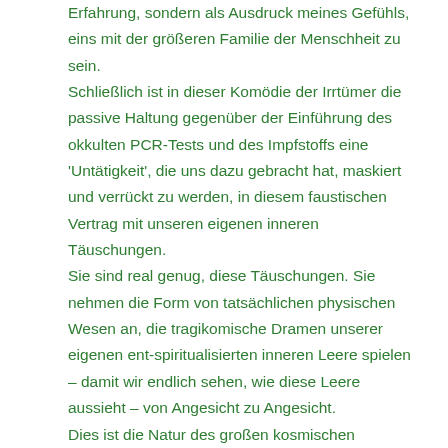Erfahrung, sondern als Ausdruck meines Gefühls, eins mit der größeren Familie der Menschheit zu sein.
Schließlich ist in dieser Komödie der Irrtümer die passive Haltung gegenüber der Einführung des okkulten PCR-Tests und des Impfstoffs eine 'Untätigkeit', die uns dazu gebracht hat, maskiert und verrückt zu werden, in diesem faustischen Vertrag mit unseren eigenen inneren Täuschungen.
Sie sind real genug, diese Täuschungen. Sie nehmen die Form von tatsächlichen physischen Wesen an, die tragikomische Dramen unserer eigenen ent-spiritualisierten inneren Leere spielen – damit wir endlich sehen, wie diese Leere aussieht – von Angesicht zu Angesicht.
Dies ist die Natur des großen kosmischen Quantentanzes der Existenz. Es lässt dieses 'Covid Event' die Rolle des Spiegels übernehmen, damit wir unsere inneren Leiden in der physischen Form derjenigen sehen können, die wir als 'Führer' wählen